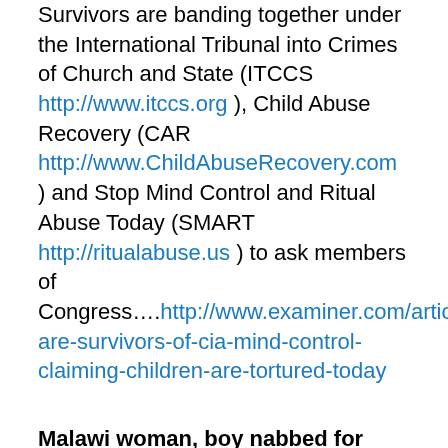Survivors are banding together under the International Tribunal into Crimes of Church and State (ITCCS http://www.itccs.org ), Child Abuse Recovery (CAR http://www.ChildAbuseRecovery.com ) and Stop Mind Control and Ritual Abuse Today (SMART http://ritualabuse.us  ) to ask members of Congress….http://www.examiner.com/article/why-are-survivors-of-cia-mind-control-claiming-children-are-tortured-today
Malawi woman, boy nabbed for aborted ritual killing
By Collins Mtika, Nyasa Times September 5, 2013
Police in the northern region district of Chitipa have arrested a 29 year old woman and a 14 year old boy for an aborted ritual killing of a five year old child.